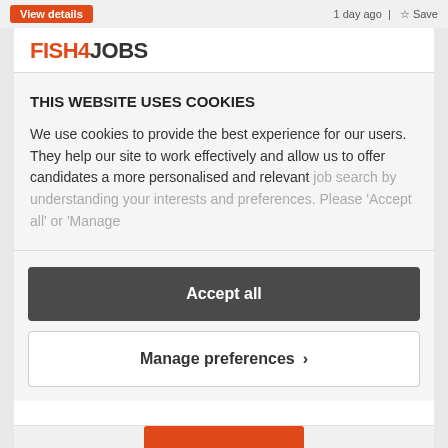View details   1 day ago | Save
[Figure (logo): Fish4Jobs logo - FISH4JOBS in orange and dark text]
THIS WEBSITE USES COOKIES
We use cookies to provide the best experience for our users. They help our site to work effectively and allow us to offer candidates a more personalised and relevant job search by understanding your interests and preferences. Please 'Accept all' or 'Manage
Accept all
Manage preferences >